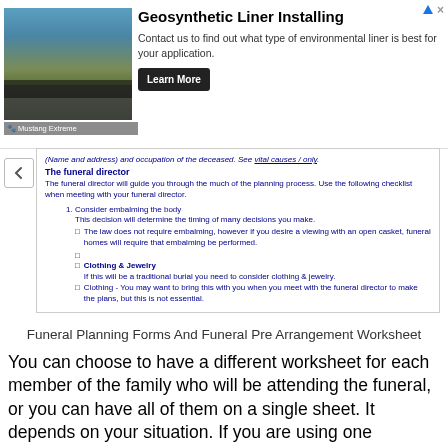[Figure (screenshot): Advertisement banner for Geosynthetic Liner Installing with landscape photo, Learn More button, and Mustang Extreme branding]
(Name and address) and occupation of the deceased. See vital causes / only.
The funeral director
The funeral director will guide you through the much of the planning process. Use the following checklist when meeting with your funeral director.
Consider embalming the body
This decision will determine the timing of many decisions you make.
The law does not require embalming, however if you desire a viewing with an open casket, funeral homes will require that embalming be performed.
Clothing & Jewelry
If this will be a traditional burial you need to consider clothing & jewelry.
Clothing - You may want to bring this with you when you meet with the funeral director to make the plans, but this is not essential.
Funeral Planning Forms And Funeral Pre Arrangement Worksheet
You can choose to have a different worksheet for each member of the family who will be attending the funeral, or you can have all of them on a single sheet. It depends on your situation. If you are using one Worksheet for each person you will want to make sure that each person has the same information and has the same date of birth, name, and last known address.